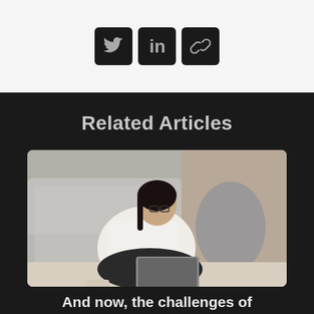[Figure (infographic): Three social media icon buttons: Twitter bird icon, LinkedIn 'in' icon, and a chain/link icon, each in a dark rounded square on a light gray background]
Related Articles
[Figure (photo): A woman with glasses wearing a white blouse sitting cross-legged on a gray couch, working on a laptop with a coffee cup nearby]
And now, the challenges of